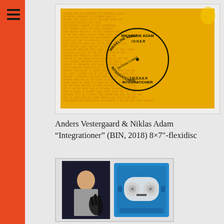[Figure (photo): Yellow background artwork with circular text arrangement reading 'Integrationer' and dense printed text covering the entire surface, displayed as a framed piece]
Anders Vestergaard & Niklas Adam
"Integrationer" (BIN, 2018) 8×7"-flexidisc
[Figure (photo): Two cassette tapes - one with a photo cover showing a person with a hand shadow puppet, and one blue cassette tape housing]